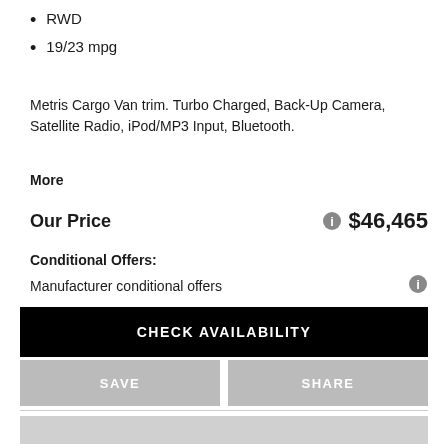RWD
19/23 mpg
Metris Cargo Van trim. Turbo Charged, Back-Up Camera, Satellite Radio, iPod/MP3 Input, Bluetooth.
More
Our Price   $46,465
Conditional Offers:
Manufacturer conditional offers
CHECK AVAILABILITY
SAVE
SHARE